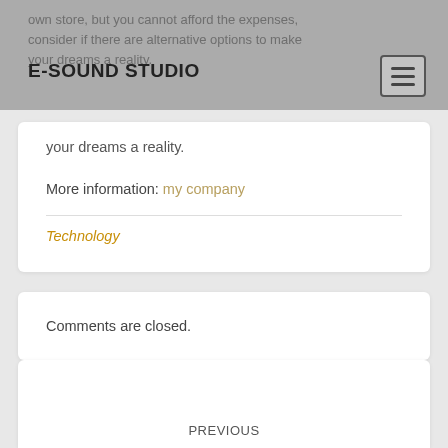E-SOUND STUDIO
own store, but you cannot afford the expenses, consider if there are alternative options to make your dreams a reality.
More information: my company
Technology
Comments are closed.
PREVIOUS